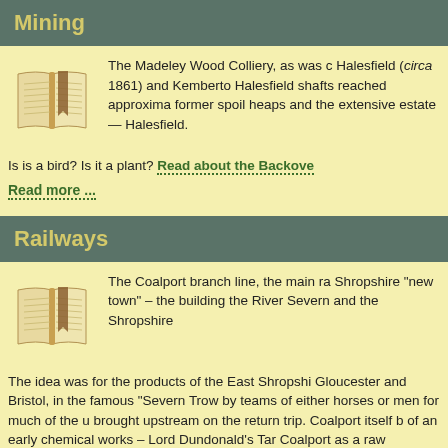Mining
[Figure (illustration): Open book illustration with bookmark ribbon]
The Madeley Wood Colliery, as was c Halesfield (circa 1861) and Kemberto Halesfield shafts reached approxima former spoil heaps and the extensive estate — Halesfield.
Is is a bird? Is it a plant? Read about the Backove
Read more ...
Railways
[Figure (illustration): Open book illustration with bookmark ribbon]
The Coalport branch line, the main ra Shropshire "new town" – the building the River Severn and the Shropshire
The idea was for the products of the East Shropshi Gloucester and Bristol, in the famous "Severn Trow by teams of either horses or men for much of the u brought upstream on the return trip. Coalport itself b of an early chemical works – Lord Dundonald's Tar Coalport as a raw material.
Read more ...